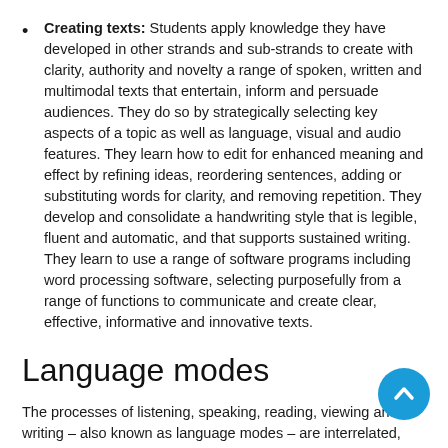Creating texts: Students apply knowledge they have developed in other strands and sub-strands to create with clarity, authority and novelty a range of spoken, written and multimodal texts that entertain, inform and persuade audiences. They do so by strategically selecting key aspects of a topic as well as language, visual and audio features. They learn how to edit for enhanced meaning and effect by refining ideas, reordering sentences, adding or substituting words for clarity, and removing repetition. They develop and consolidate a handwriting style that is legible, fluent and automatic, and that supports sustained writing. They learn to use a range of software programs including word processing software, selecting purposefully from a range of functions to communicate and create clear, effective, informative and innovative texts.
Language modes
The processes of listening, speaking, reading, viewing and writing – also known as language modes – are interrelated, and the learning of one often supports and extends learning of the others. To acknowledge these interrelationships, content descriptions in each